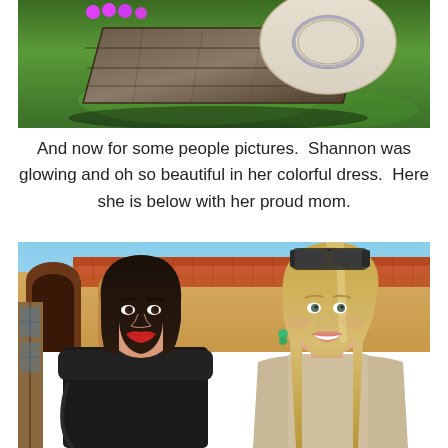[Figure (photo): Overhead/aerial view of a wooden bench or table on green grass, with a wide-brimmed hat and colorful items visible from above, sunlight casting shadows]
And now for some people pictures.  Shannon was glowing and oh so beautiful in her colorful dress.  Here she is below with her proud mom.
[Figure (photo): Two smiling women standing together outdoors in front of a building with terracotta roof tiles and arched doorway. Left woman has dark bob hair, wearing black, with red lipstick and a necklace. Right woman is blonde with sunglasses on her head and green earrings.]